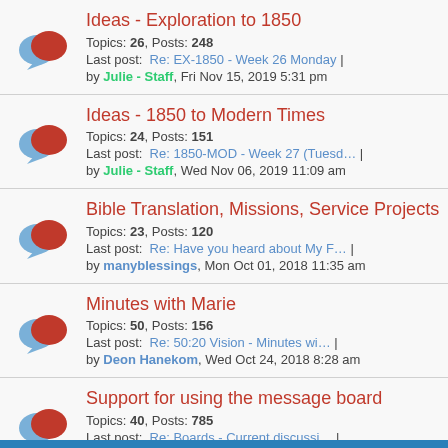Ideas - Exploration to 1850
Topics: 26, Posts: 248
Last post: Re: EX-1850 - Week 26 Monday | by Julie - Staff, Fri Nov 15, 2019 5:31 pm
Ideas - 1850 to Modern Times
Topics: 24, Posts: 151
Last post: Re: 1850-MOD - Week 27 (Tuesd... | by Julie - Staff, Wed Nov 06, 2019 11:09 am
Bible Translation, Missions, Service Projects
Topics: 23, Posts: 120
Last post: Re: Have you heard about My F... | by manyblessings, Mon Oct 01, 2018 11:35 am
Minutes with Marie
Topics: 50, Posts: 156
Last post: Re: 50:20 Vision - Minutes wi... | by Deon Hanekom, Wed Oct 24, 2018 8:28 am
Support for using the message board
Topics: 40, Posts: 785
Last post: Re: Boards - Current discussi... | by Christy - Staff, Fri Aug 26, 2016 12:57 pm